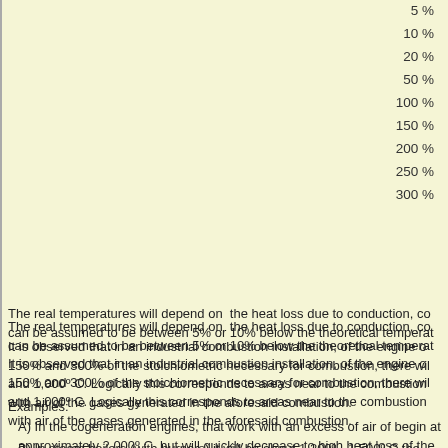5 %
10 %
20 %
50 %
100 %
150 %
200 %
250 %
300 %
The real temperatures will depend on  the heat loss due to conduction, co can be assumed to be between 5% or 10% below the theoretical temperat
It is observed that in an industrial combustion installation, of the engine o 150% and 300% of the stoichiometric necessary for combustion, there wil and 1,000º C. Logically this corresponds to areas near to the combustion with air of the gases generated in the aforesaid combustion.
Examples:
A) In the cogeneration engines, that work with an excess of air of begin at approximately 2,000º C, but will quickly decrease to high heat loss of the circuit, it will be about 350º C in the tur boilers of the cogeneration plant.
B) In steam boilers (with burners) it will be about 1,200º - 1,500º C the gases with the reheater pipes.